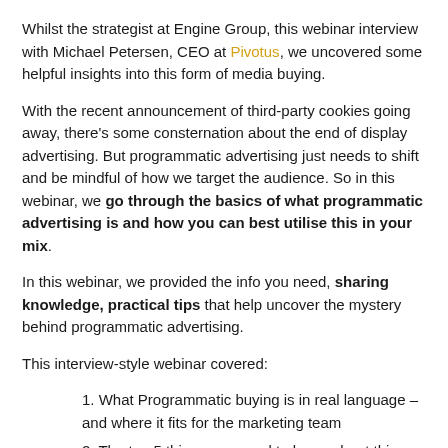Whilst the strategist at Engine Group, this webinar interview with Michael Petersen, CEO at Pivotus, we uncovered some helpful insights into this form of media buying.
With the recent announcement of third-party cookies going away, there’s some consternation about the end of display advertising. But programmatic advertising just needs to shift and be mindful of how we target the audience. So in this webinar, we go through the basics of what programmatic advertising is and how you can best utilise this in your mix.
In this webinar, we provided the info you need, sharing knowledge, practical tips that help uncover the mystery behind programmatic advertising.
This interview-style webinar covered:
1. What Programmatic buying is in real language – and where it fits for the marketing team
2. The top 5 things you need to know about this